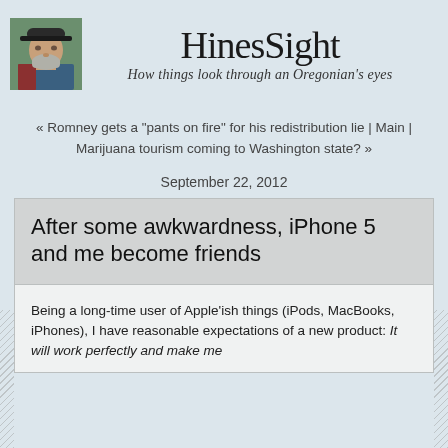[Figure (photo): Portrait photo of a bearded man wearing a dark cap and blue jacket, outdoors.]
HinesSight
How things look through an Oregonian's eyes
« Romney gets a "pants on fire" for his redistribution lie | Main | Marijuana tourism coming to Washington state? »
September 22, 2012
After some awkwardness, iPhone 5 and me become friends
Being a long-time user of Apple'ish things (iPods, MacBooks, iPhones), I have reasonable expectations of a new product: It will work perfectly and make me